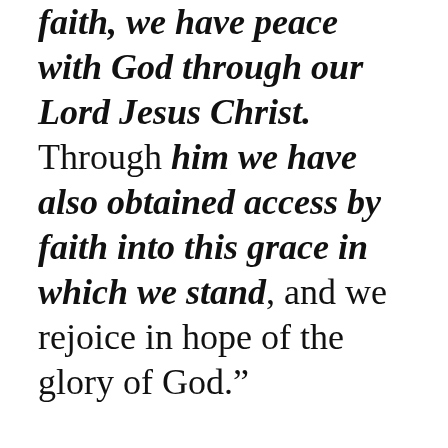faith, we have peace with God through our Lord Jesus Christ. Through him we have also obtained access by faith into this grace in which we stand, and we rejoice in hope of the glory of God.”
4)  Reconciliation is the finished work of God